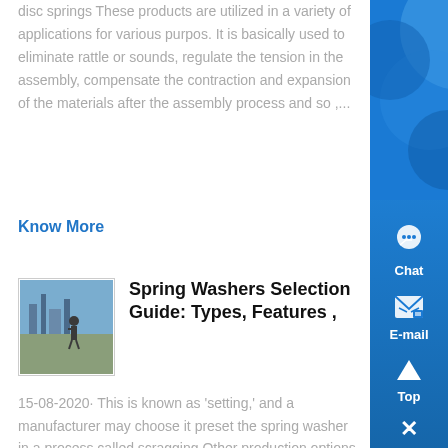disc springs These products are utilized in a variety of applications for various purpos. It is basically used to eliminate rattle or sounds, regulate the tension in the assembly, compensate the contraction and expansion of the materials after the assembly process and so ,...
Know More
[Figure (photo): Thumbnail photo showing construction/spring washer related scene]
Spring Washers Selection Guide: Types, Features ,
15-08-2020· This is known as 'setting,' and a manufacturer may choose it preset the spring washer in a process called scragging Other production options include shot peening and adding corrosion resistant coatings to enhance the spring washer's life Configurations There are several types of spring washers, as well as multiple options for their ....